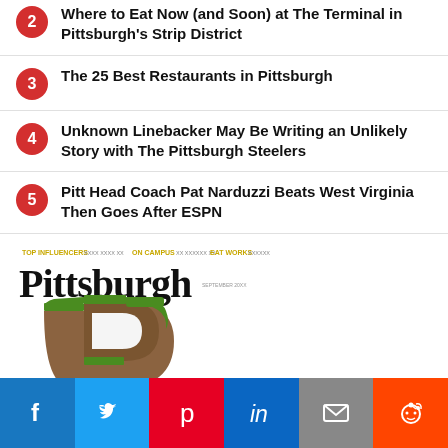Where to Eat Now (and Soon) at The Terminal in Pittsburgh's Strip District
The 25 Best Restaurants in Pittsburgh
Unknown Linebacker May Be Writing an Unlikely Story with The Pittsburgh Steelers
Pitt Head Coach Pat Narduzzi Beats West Virginia Then Goes After ESPN
[Figure (photo): Pittsburgh magazine cover featuring large 'Pittsburgh' masthead text and a grass-covered letter P shape, with small text: TOP INFLUENCERS, ON CAMPUS, EAT WORKS]
[Figure (infographic): Social share bar with icons: Facebook (blue), Twitter (light blue), Pinterest (red), LinkedIn (dark blue), Email (grey), Reddit (orange-red)]